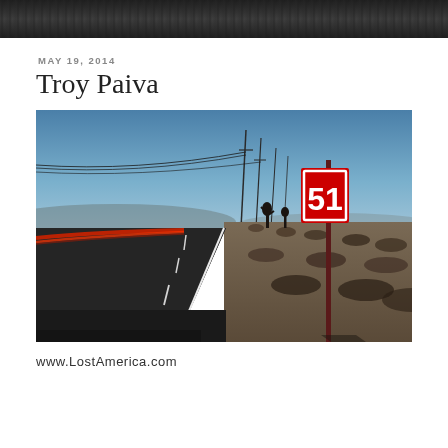[Figure (photo): Dark textured photo strip at the top of the page, appears to be a dark abstract or partially cropped image]
MAY 19, 2014
Troy Paiva
[Figure (photo): Night photography of a desert highway with red light trails on the left side of the road, a red speed limit sign reading '51' on the right mounted on a pole, power lines and telephone poles receding into the distance, Joshua trees on the horizon, blue twilight sky]
www.LostAmerica.com